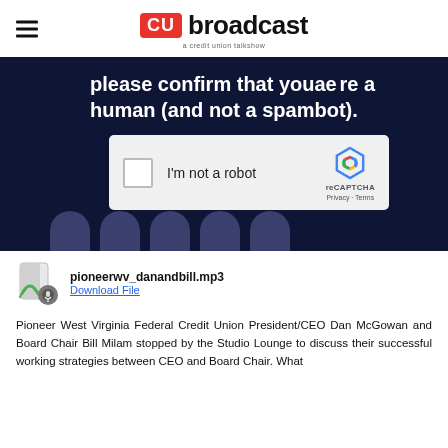CU broadcast — a credit union talkshow
[Figure (screenshot): Dark navy background screenshot showing a reCAPTCHA widget with text 'please confirm that youae re a human (and not a spambot).' and an 'I'm not a robot' checkbox with reCAPTCHA logo, Privacy and Terms links, and partial social media icons at bottom]
pioneerwv_danandbill.mp3
Download File
Pioneer West Virginia Federal Credit Union President/CEO Dan McGowan and Board Chair Bill Milam stopped by the Studio Lounge to discuss their successful working strategies between CEO and Board Chair. What